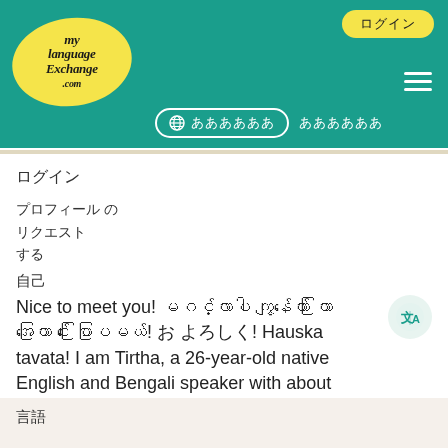MyLanguageExchange.com — website header with logo, navigation buttons, globe/language selector
ログイン
プロフィール の
リクエスト
する
自己
Nice to meet you! မင်္ဂလာပါ ကျွန်တော် တြာ အကြောင်း ပြောပြမယ်! お よろしく! Hauska tavata! I am Tirtha, a 26-year-old native English and Bengali speaker with about intermediate spoken and beginner written proficiency in Japanese. I will visit Finland in August 2023 to start my Master's education in the Helsinki area. After researching Finland, and the Finnish culture as a whole for the last month I have got t...
See more
言語